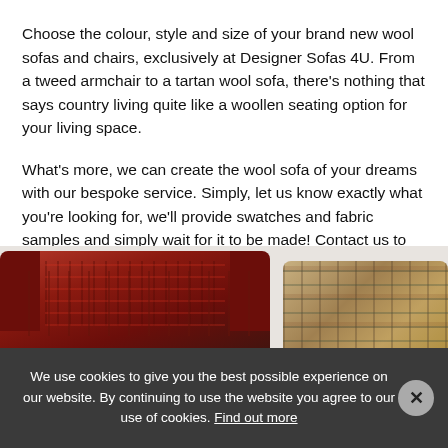Choose the colour, style and size of your brand new wool sofas and chairs, exclusively at Designer Sofas 4U. From a tweed armchair to a tartan wool sofa, there's nothing that says country living quite like a woollen seating option for your living space.
What's more, we can create the wool sofa of your dreams with our bespoke service. Simply, let us know exactly what you're looking for, we'll provide swatches and fabric samples and simply wait for it to be made! Contact us to find out more.
[Figure (photo): Two wool sofas/chairs — a red tartan chesterfield sofa on the left and a plaid/tartan armchair on the right, partially visible at the bottom of the page.]
We use cookies to give you the best possible experience on our website. By continuing to use the website you agree to our use of cookies. Find out more